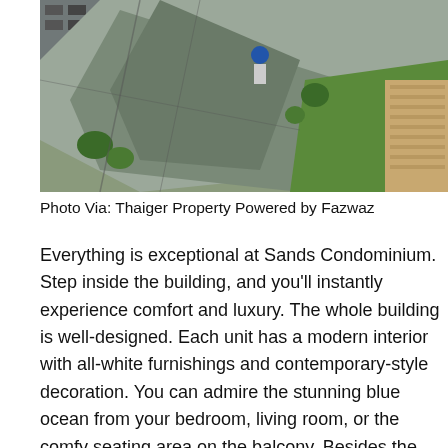[Figure (photo): Aerial/overhead photograph of a building construction or development site with grey sheeting/tarpaulin covering structures, green lawn area, white cube-shaped objects, trees, and a road visible at top-left.]
Photo Via: Thaiger Property Powered by Fazwaz
Everything is exceptional at Sands Condominium. Step inside the building, and you'll instantly experience comfort and luxury. The whole building is well-designed. Each unit has a modern interior with all-white furnishings and contemporary-style decoration. You can admire the stunning blue ocean from your bedroom, living room, or the comfy seating area on the balcony. Besides the spacious units, Sands Condominium also offers exclusive facilities to help you relax and rejuvenate